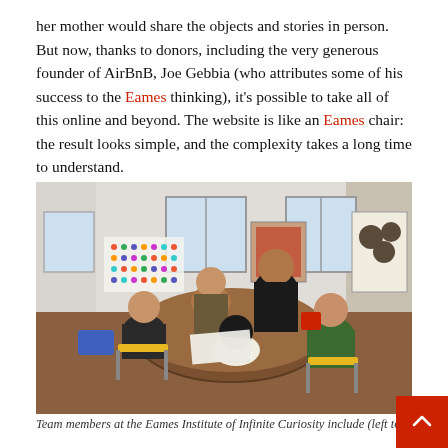her mother would share the objects and stories in person. But now, thanks to donors, including the very generous founder of AirBnB, Joe Gebbia (who attributes some of his success to the Eames thinking), it's possible to take all of this online and beyond. The website is like an Eames chair: the result looks simple, and the complexity takes a long time to understand.
[Figure (photo): Group of five people seated and standing around a round wooden table in a bright, mid-century modern room. Several Eames chairs (yellow, blue) are visible. A colorful dot chart hangs on the wall. People appear to be in a meeting or discussion.]
Team members at the Eames Institute of Infinite Curiosity include (left to